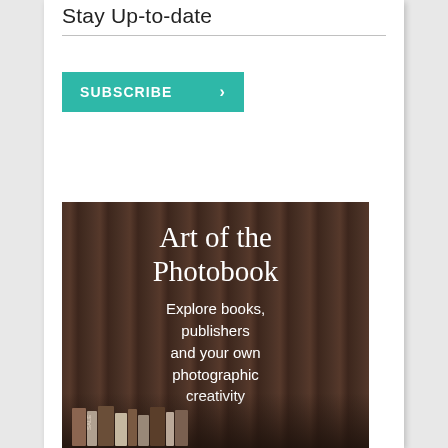Stay Up-to-date
SUBSCRIBE ›
[Figure (illustration): Promotional banner with dark brown background showing book shelves with text 'Art of the Photobook – Explore books, publishers and your own photographic creativity']